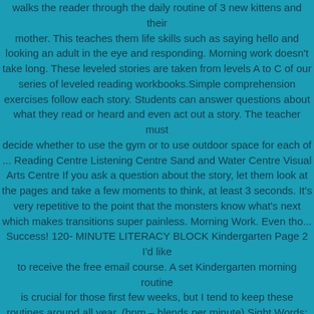walks the reader through the daily routine of 3 new kittens and their mother. This teaches them life skills such as saying hello and looking an adult in the eye and responding. Morning work doesn't take long. These leveled stories are taken from levels A to C of our series of leveled reading workbooks.Simple comprehension exercises follow each story. Students can answer questions about what they read or heard and even act out a story. The teacher must decide whether to use the gym or to use outdoor space for each of ... Reading Centre Listening Centre Sand and Water Centre Visual Arts Centre If you ask a question about the story, let them look at the pages and take a few moments to think, at least 3 seconds. It's very repetitive to the point that the monsters know what's next which makes transitions super painless. Morning Work. Even tho... Success! 120- MINUTE LITERACY BLOCK Kindergarten Page 2 I'd like to receive the free email course. A set Kindergarten morning routine is crucial for those first few weeks, but I tend to keep these routines around all year. (bpm – blends per minute) Sight Words: The students will be required to know how to read the words on each set. Here are some of the BEST books for Kindergarten age kids to read themselves. When your brain starts to spin off in a